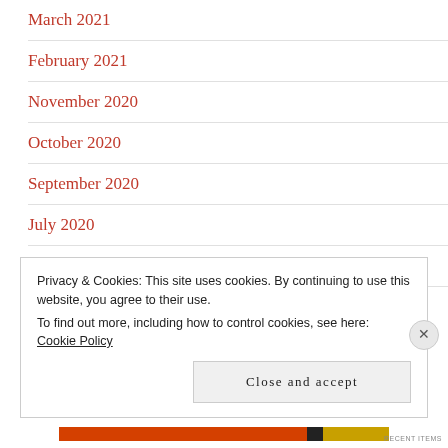March 2021
February 2021
November 2020
October 2020
September 2020
July 2020
June 2020
Privacy & Cookies: This site uses cookies. By continuing to use this website, you agree to their use.
To find out more, including how to control cookies, see here: Cookie Policy
Close and accept